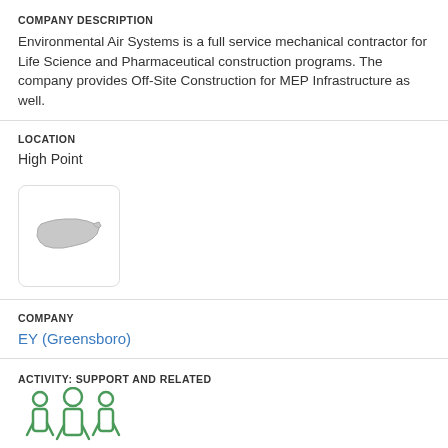COMPANY DESCRIPTION
Environmental Air Systems is a full service mechanical contractor for Life Science and Pharmaceutical construction programs. The company provides Off-Site Construction for MEP Infrastructure as well.
LOCATION
High Point
[Figure (logo): North Carolina state outline logo/placeholder image in gray on white background with rounded border]
COMPANY
EY (Greensboro)
ACTIVITY: SUPPORT AND RELATED
[Figure (illustration): Green icon of three people/group silhouettes]